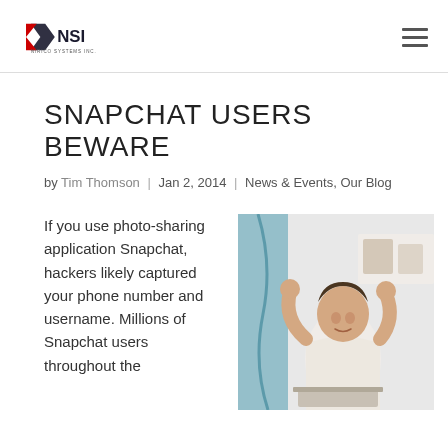NSI - Nirico Systems Inc. [logo and navigation]
SNAPCHAT USERS BEWARE
by Tim Thomson | Jan 2, 2014 | News & Events, Our Blog
If you use photo-sharing application Snapchat, hackers likely captured your phone number and username. Millions of Snapchat users throughout the
[Figure (photo): Man with hands on head looking stressed at a laptop, indoor setting]